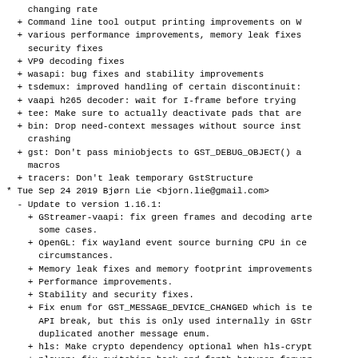changing rate
+ Command line tool output printing improvements on W
+ various performance improvements, memory leak fixes
    security fixes
+ VP9 decoding fixes
+ wasapi: bug fixes and stability improvements
+ tsdemux: improved handling of certain discontinuit:
+ vaapi h265 decoder: wait for I-frame before trying
+ tee: Make sure to actually deactivate pads that are
+ bin: Drop need-context messages without source inst
    crashing
+ gst: Don't pass miniobjects to GST_DEBUG_OBJECT() a
    macros
+ tracers: Don't leak temporary GstStructure
* Tue Sep 24 2019 Bjørn Lie <bjorn.lie@gmail.com>
- Update to version 1.16.1:
+ GStreamer-vaapi: fix green frames and decoding arte
      some cases.
+ OpenGL: fix wayland event source burning CPU in ce
      circumstances.
+ Memory leak fixes and memory footprint improvements
+ Performance improvements.
+ Stability and security fixes.
+ Fix enum for GST_MESSAGE_DEVICE_CHANGED which is te
      API break, but this is only used internally in GStr
      duplicated another message enum.
+ hls: Make crypto dependency optional when hls-crypt
+ player: fix switching back and forth between forwar
      reverse playback.
+ decklinkaudiosink: Drop late buffers.
+ openh264enc: Fix compilation with openh264 v2.0